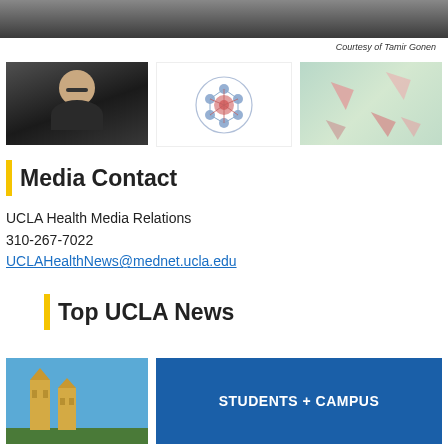[Figure (photo): Top portion of a photo showing a person in a dark jacket, cropped at bottom of image]
Courtesy of Tamir Gonen
[Figure (photo): Three images side by side: a man with glasses in a lab setting, a molecular structure diagram in blue and red, and colorful geometric fragments on a pastel background]
Media Contact
UCLA Health Media Relations
310-267-7022
UCLAHealthNews@mednet.ucla.edu
Top UCLA News
[Figure (photo): UCLA campus building with towers against a blue sky]
STUDENTS + CAMPUS